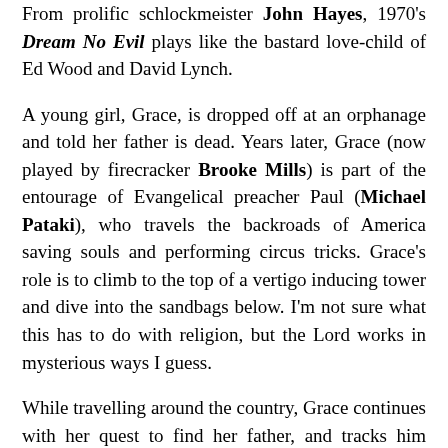From prolific schlockmeister John Hayes, 1970's Dream No Evil plays like the bastard love-child of Ed Wood and David Lynch.
A young girl, Grace, is dropped off at an orphanage and told her father is dead. Years later, Grace (now played by firecracker Brooke Mills) is part of the entourage of Evangelical preacher Paul (Michael Pataki), who travels the backroads of America saving souls and performing circus tricks. Grace's role is to climb to the top of a vertigo inducing tower and dive into the sandbags below. I'm not sure what this has to do with religion, but the Lord works in mysterious ways I guess.
While travelling around the country, Grace continues with her quest to find her father, and tracks him down to a mortuary/brothel (don't ask) where his corpse lies on a slab before coming to life and joining his daughter in their childhood